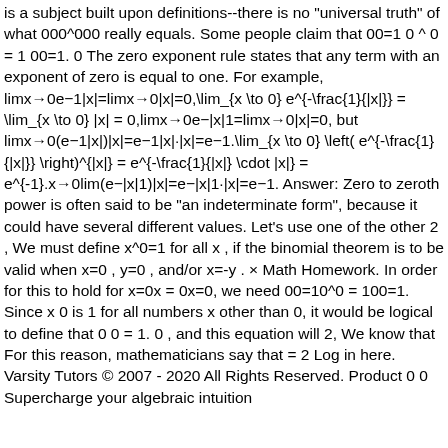is a subject built upon definitions--there is no "universal truth" of what 000^000 really equals. Some people claim that 00=1 0 ^ 0 = 1 00=1. 0 The zero exponent rule states that any term with an exponent of zero is equal to one. For example, limx→0e−1|x|=limx→0|x|=0,\lim_{x \to 0} e^{-\frac{1}{|x|}} = \lim_{x \to 0} |x| = 0,limx→0e−|x|1=limx→0|x|=0, but limx→0(e−1|x|)|x|=e−1|x|·|x|=e−1.\lim_{x \to 0} \left( e^{-\frac{1}{|x|}} \right)^{|x|} = e^{-\frac{1}{|x|} \cdot |x|} = e^{-1}.x→0lim(e−|x|1)|x|=e−|x|1·|x|=e−1. Answer: Zero to zeroth power is often said to be "an indeterminate form", because it could have several different values. Let's use one of the other 2 , We must define x^0=1 for all x , if the binomial theorem is to be valid when x=0 , y=0 , and/or x=-y . × Math Homework. In order for this to hold for x=0x = 0x=0, we need 00=10^0 = 100=1. Since x 0 is 1 for all numbers x other than 0, it would be logical to define that 0 0 = 1. 0 , and this equation will 2, We know that For this reason, mathematicians say that = 2 Log in here. Varsity Tutors © 2007 - 2020 All Rights Reserved. Product 0 0 Supercharge your algebraic intuition